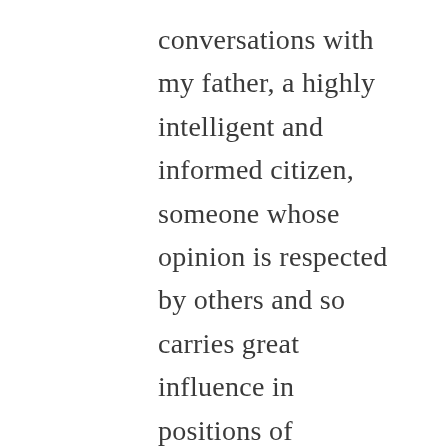conversations with my father, a highly intelligent and informed citizen, someone whose opinion is respected by others and so carries great influence in positions of leadership he often holds. When asked about it, he said he had never heard about these federal agents dispatched to suppress legal protest. So, it wasn't that he had a biased and misinformed view of the issue but simply did not know about it. He spends hours every day reading The Wall Street Journal, along with a local newspaper, and often will watch Fox News in the evening. He is in a media bubble like